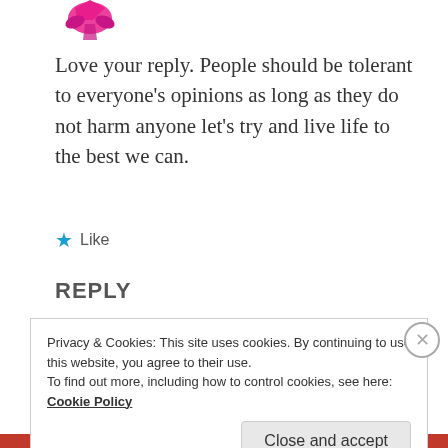[Figure (illustration): Pink bird/flamingo avatar icon at top left]
Love your reply. People should be tolerant to everyone’s opinions as long as they do not harm anyone let’s try and live life to the best we can.
★ Like
REPLY
[Figure (logo): Green pixel/mosaic style avatar for John Smith]
JOHN SMITH
July 28, 2019 at 6:47 pm
Privacy & Cookies: This site uses cookies. By continuing to use this website, you agree to their use.
To find out more, including how to control cookies, see here: Cookie Policy
Close and accept